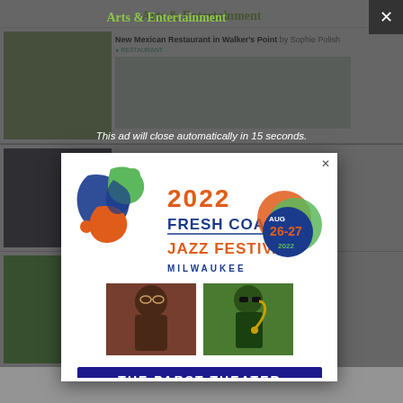Arts & Entertainment
This ad will close automatically in 15 seconds.
[Figure (screenshot): Advertisement popup for 2022 Fresh Coast Jazz Festival at The Pabst Theater, Milwaukee, August 26-27, 2022. Features the festival logo with colorful swirl, photos of Bob James and Najee, and ticket info at freshcoastjazz.com and pabsttheatergroup.com]
Tired of seeing banner ads on Urban Milwaukee? Become a member for $9/month.